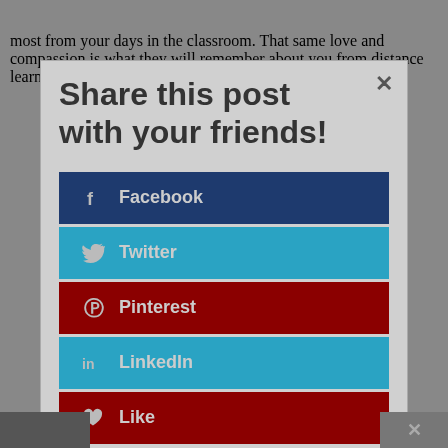most from your days in the classroom. That same love and compassion is what they will remember about you from distance learning. No matter what kind of learning is taking place,
Share this post with your friends!
Facebook
Twitter
Pinterest
LinkedIn
Like